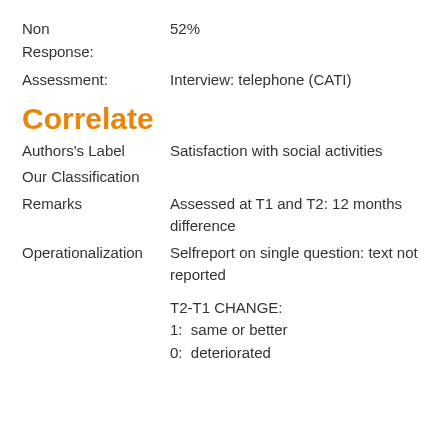Non Response: 52%
Assessment: Interview: telephone (CATI)
Correlate
Authors's Label    Satisfaction with social activities
Our Classification
Remarks    Assessed at T1 and T2: 12 months difference
Operationalization    Selfreport on single question: text not reported
T2-T1 CHANGE:
1:  same or better
0:  deteriorated